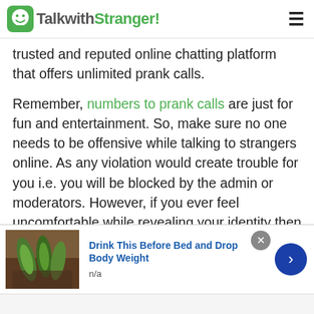TalkwithStranger!
trusted and reputed online chatting platform that offers unlimited prank calls.
Remember, numbers to prank calls are just for fun and entertainment. So, make sure no one needs to be offensive while talking to strangers online. As any violation would create trouble for you i.e. you will be blocked by the admin or moderators. However, if you ever feel uncomfortable while revealing your identity then anonymous prank calls are for sure the best option. You can freely talk
[Figure (screenshot): Advertisement banner: image of green drink with cucumbers, title 'Drink This Before Bed and Drop Body Weight', subtitle 'n/a', with a blue arrow button and close button]